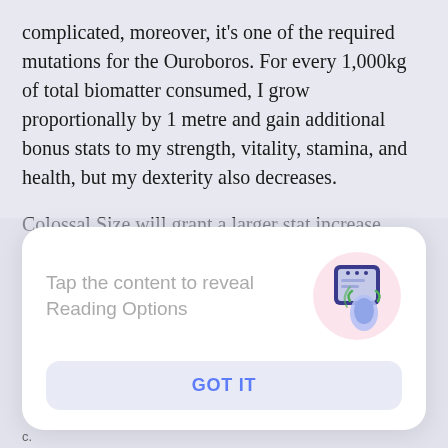complicated, moreover, it's one of the required mutations for the Ouroboros. For every 1,000kg of total biomatter consumed, I grow proportionally by 1 metre and gain additional bonus stats to my strength, vitality, stamina, and health, but my dexterity also decreases.
Colossal Size will grant a larger stat increase immediately on top of it being an increase to my base stats rather than bonus stats. Growth on the
[Figure (illustration): A modal dialog card with rounded corners on a light purple/grey background. Left side shows grey text 'Tap the content to reveal Reading Options'. Right side shows a circular illustration with pink background depicting a hand tapping a mobile phone screen with green tap indicators. Below is a blue-tinted button with text 'GOT IT'.]
c.